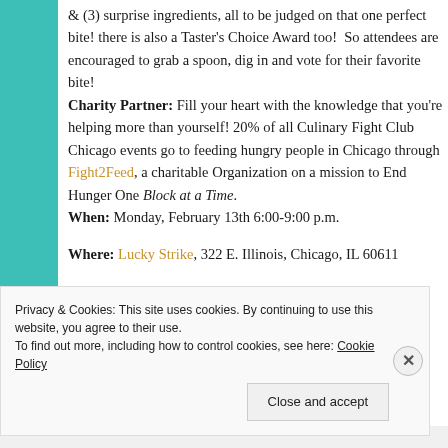& (3) surprise ingredients, all to be judged on that one perfect bite! there is also a Taster's Choice Award too!  So attendees are encouraged to grab a spoon, dig in and vote for their favorite bite!
Charity Partner: Fill your heart with the knowledge that you're helping more than yourself! 20% of all Culinary Fight Club Chicago events go to feeding hungry people in Chicago through Fight2Feed, a charitable Organization on a mission to End Hunger One Block at a Time.
When: Monday, February 13th 6:00-9:00 p.m.
Where: Lucky Strike, 322 E. Illinois, Chicago, IL 60611
Privacy & Cookies: This site uses cookies. By continuing to use this website, you agree to their use. To find out more, including how to control cookies, see here: Cookie Policy